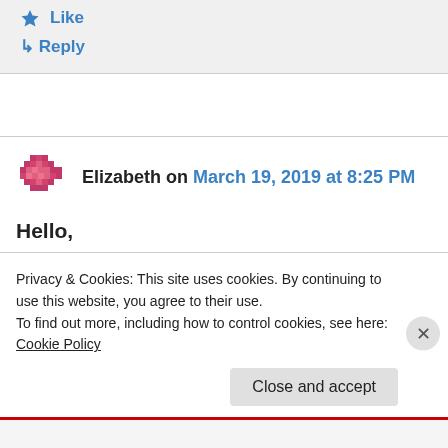★ Like
↳ Reply
Elizabeth on March 19, 2019 at 8:25 PM
Hello,
My grandfather, Grover Huffman, was with
Privacy & Cookies: This site uses cookies. By continuing to use this website, you agree to their use. To find out more, including how to control cookies, see here: Cookie Policy
Close and accept